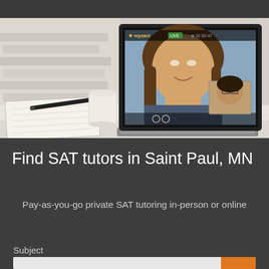[Figure (photo): Photo of a laptop on a desk showing a video call with a female tutor smiling, with a secondary student video in the corner. A coffee cup, notebook, and pen are visible on the desk beside the laptop. White brick wall in background.]
Find SAT tutors in Saint Paul, MN
Pay-as-you-go private SAT tutoring in-person or online
Subject